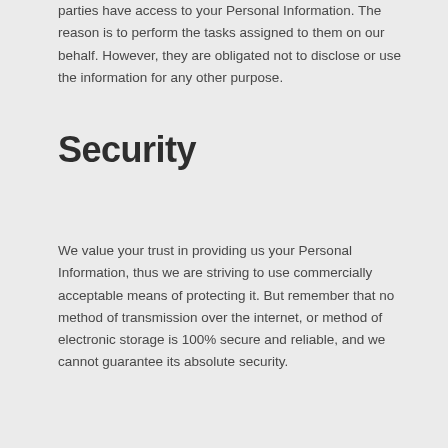parties have access to your Personal Information. The reason is to perform the tasks assigned to them on our behalf. However, they are obligated not to disclose or use the information for any other purpose.
Security
We value your trust in providing us your Personal Information, thus we are striving to use commercially acceptable means of protecting it. But remember that no method of transmission over the internet, or method of electronic storage is 100% secure and reliable, and we cannot guarantee its absolute security.